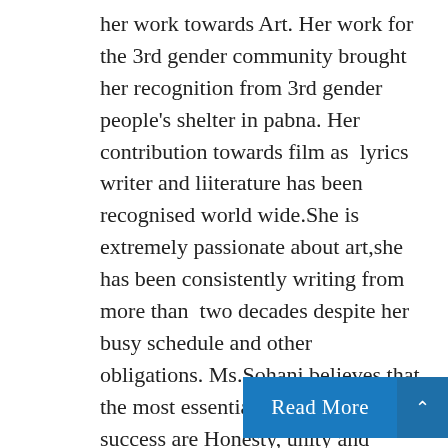her work towards Art. Her work for the 3rd gender community brought her recognition from 3rd gender  people's shelter in pabna. Her contribution towards film as  lyrics writer and liiterature has been recognised world wide.She is extremely passionate about art,she has been consistently writing from more than  two decades despite her busy schedule and other obligations. Ms.Sohani believes that the most essential ingredients for success are Honesty, unity and dedication.Her attitude of never give up had given her strength to fight cancer.She believes that everybody should contribute at their individual le...
Read More